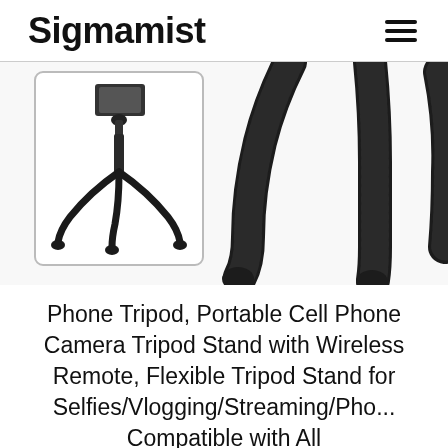Sigmamist
[Figure (photo): Product photo of a flexible phone tripod. Left side shows a small inset image of the full tripod with a phone mounted on top, displayed in a white rectangle with border. Right side shows a close-up of the tripod legs - three flexible black textured legs with rounded tips.]
Phone Tripod, Portable Cell Phone Camera Tripod Stand with Wireless Remote, Flexible Tripod Stand for Selfies/Vlogging/Streaming/Pho... Compatible with All